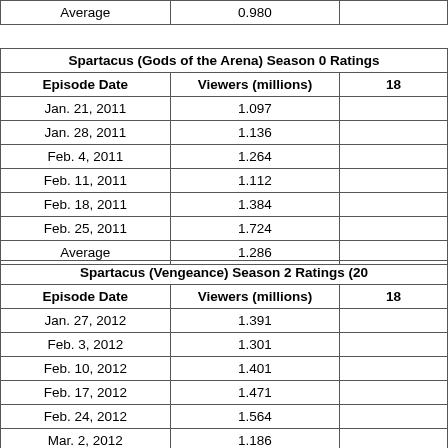| Average | 0.980 |  |
| --- | --- | --- |
| Spartacus (Gods of the Arena) Season 0 Ratings |
| --- |
| Episode Date | Viewers (millions) | 18 |
| Jan. 21, 2011 | 1.097 |  |
| Jan. 28, 2011 | 1.136 |  |
| Feb. 4, 2011 | 1.264 |  |
| Feb. 11, 2011 | 1.112 |  |
| Feb. 18, 2011 | 1.384 |  |
| Feb. 25, 2011 | 1.724 |  |
| Average | 1.286 |  |
| Spartacus (Vengeance) Season 2 Ratings (20... |
| --- |
| Episode Date | Viewers (millions) | 18 |
| Jan. 27, 2012 | 1.391 |  |
| Feb. 3, 2012 | 1.301 |  |
| Feb. 10, 2012 | 1.401 |  |
| Feb. 17, 2012 | 1.471 |  |
| Feb. 24, 2012 | 1.564 |  |
| Mar. 2, 2012 | 1.186 |  |